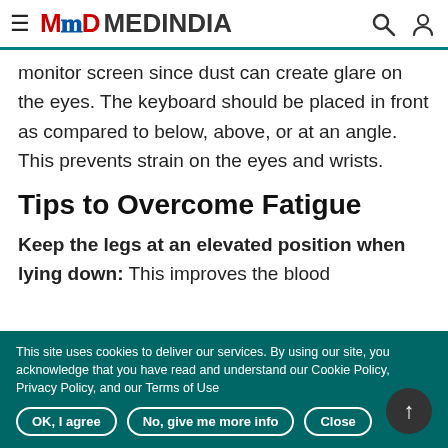MEDINDIA
monitor screen since dust can create glare on the eyes. The keyboard should be placed in front as compared to below, above, or at an angle. This prevents strain on the eyes and wrists.
Tips to Overcome Fatigue
Keep the legs at an elevated position when lying down: This improves the blood
This site uses cookies to deliver our services. By using our site, you acknowledge that you have read and understand our Cookie Policy, Privacy Policy, and our Terms of Use